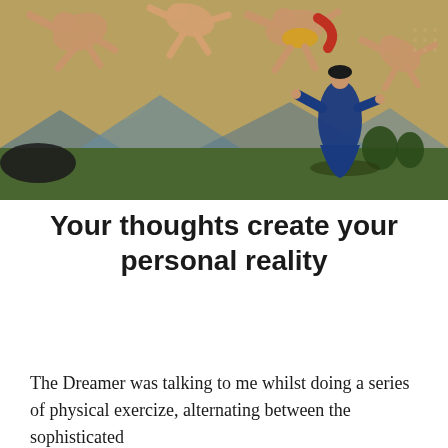[Figure (illustration): A surrealist painting showing several human figures floating/falling in mid-air above a landscape with mountains and green fields. A figure in a dark blue robe stands on the ground looking up. The scene blends classical painting style with surreal composition on a golden-brown background.]
Your thoughts create your personal reality
The Dreamer was talking to me whilst doing a series of physical exercize, alternating between the sophisticated